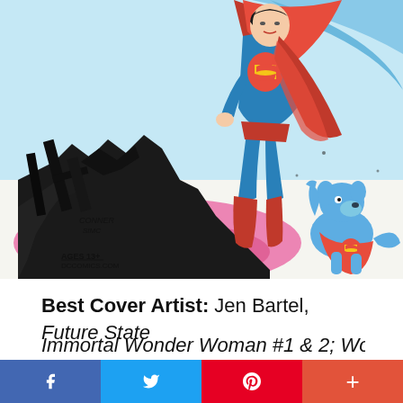[Figure (illustration): Comic book cover art showing Superman flying upward in classic blue and red costume with cape, above rubble/debris with pink/red glow. A blue superdog wearing a cape with S-shield sits on the right looking up at Superman. Artists signatures 'CONNER' and 'SIMIC' visible. Bottom left reads 'AGES 13+' and 'DCCOMICS.COM'. White sky background.]
Best Cover Artist: Jen Bartel, Future State Immortal Wonder Woman #1 & 2; Wonder...
f  [twitter bird]  P  +